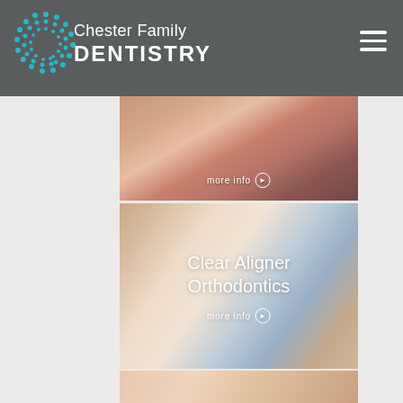Chester Family DENTISTRY
[Figure (photo): Close-up dental/lips photo with 'more info' link overlay]
[Figure (photo): Close-up smile with clear aligner, overlay text: Clear Aligner Orthodontics, more info]
[Figure (photo): Partial dental close-up photo at bottom]